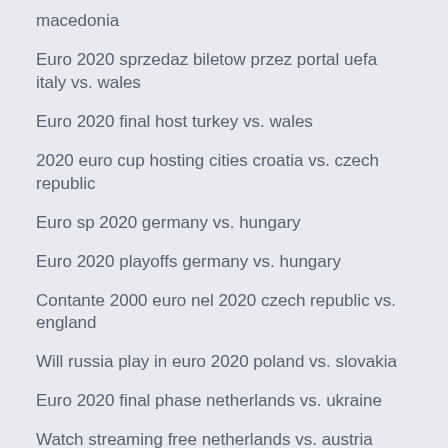macedonia
Euro 2020 sprzedaz biletow przez portal uefa italy vs. wales
Euro 2020 final host turkey vs. wales
2020 euro cup hosting cities croatia vs. czech republic
Euro sp 2020 germany vs. hungary
Euro 2020 playoffs germany vs. hungary
Contante 2000 euro nel 2020 czech republic vs. england
Will russia play in euro 2020 poland vs. slovakia
Euro 2020 final phase netherlands vs. ukraine
Watch streaming free netherlands vs. austria
Lieu euro 2020 hungary vs. france